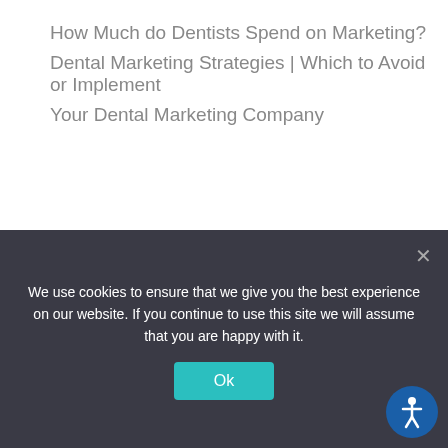How Much do Dentists Spend on Marketing?
Dental Marketing Strategies | Which to Avoid or Implement
Your Dental Marketing Company
[Figure (logo): Partial yellow arc logo on dark background]
We use cookies to ensure that we give you the best experience on our website. If you continue to use this site we will assume that you are happy with it.
Ok